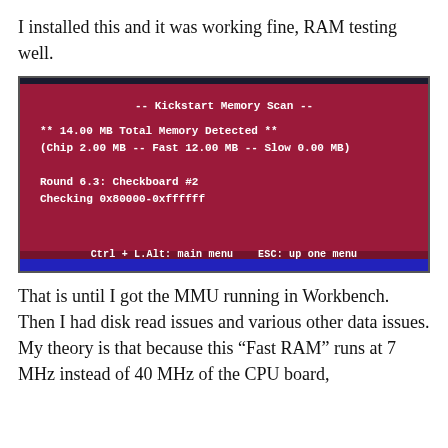I installed this and it was working fine, RAM testing well.
[Figure (screenshot): A computer screen showing the Kickstart Memory Scan diagnostic tool. Text reads: '-- Kickstart Memory Scan --', '** 14.00 MB Total Memory Detected **', '(Chip 2.00 MB -- Fast 12.00 MB -- Slow 0.00 MB)', 'Round 6.3: Checkboard #2', 'Checking 0x80000-0xffffff'. Bottom bar shows 'Ctrl + L.Alt: main menu   ESC: up one menu'. Background is dark pink/magenta with a dark navy top stripe and blue bottom stripe.]
That is until I got the MMU running in Workbench. Then I had disk read issues and various other data issues. My theory is that because this “Fast RAM” runs at 7 MHz instead of 40 MHz of the CPU board,